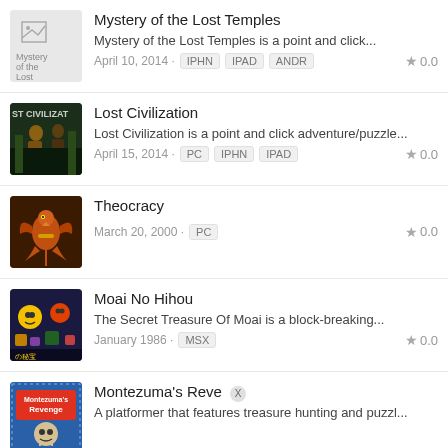Mystery of the Lost Temples
Mystery of the Lost Temples is a point and click...
April 10, 2014 · IPHN IPAD ANDR · 0.0
Lost Civilization
Lost Civilization is a point and click adventure/puzzle...
April 15, 2014 · PC IPHN IPAD · 0.0
Theocracy
March 20, 2000 · PC · 0.0
Moai No Hihou
The Secret Treasure Of Moai is a block-breaking...
January 1986 · MSX · 0.0
Montezuma's Reve X
A platformer that features treasure hunting and puzzl...